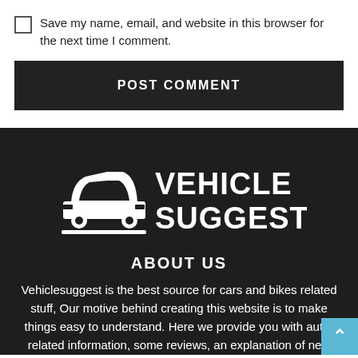Save my name, email, and website in this browser for the next time I comment.
POST COMMENT
[Figure (logo): Vehicle Suggest logo: white car icon with VEHICLE SUGGEST text on dark background]
ABOUT US
Vehiclesuggest is the best source for cars and bikes related stuff, Our motive behind creating this website is to make things easy to understand. Here we provide you with auto-related information, some reviews, an explanation of new